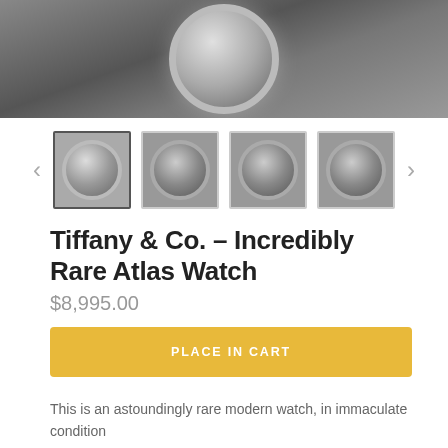[Figure (photo): Main product photo showing a Tiffany & Co. Atlas watch, close-up of chrome/silver watch face with reflective bezel against a grey background]
[Figure (photo): Thumbnail gallery row with navigation arrows and four small watch photos]
Tiffany & Co. – Incredibly Rare Atlas Watch
$8,995.00
PLACE IN CART
This is an astoundingly rare modern watch, in immaculate condition